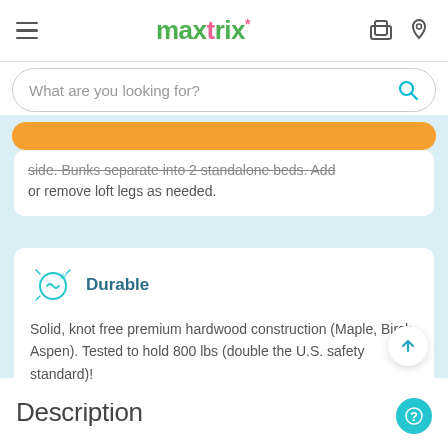maxtrix — navigation header with hamburger menu, logo, cart and location icons
What are you looking for?
side. Bunks separate into 2 standalone beds. Add or remove loft legs as needed.
Durable
Solid, knot free premium hardwood construction (Maple, Birch, Aspen). Tested to hold 800 lbs (double the U.S. safety standard)!
Description